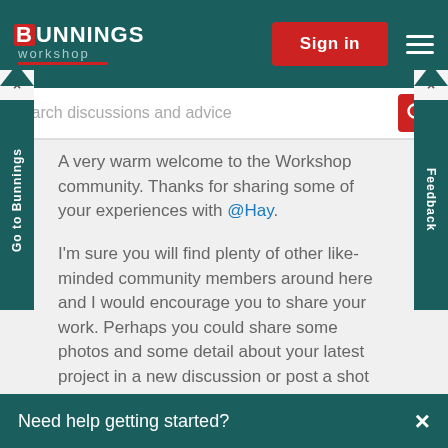[Figure (screenshot): Bunnings Workshop logo in white text on dark teal header with 'workshop' subtitle and red underline]
[Figure (screenshot): Red Sign in button on the right side of the header]
[Figure (screenshot): Hamburger menu icon (three white horizontal lines) in the header]
[Figure (screenshot): Search bar with placeholder text 'Search discussions and advice' and red search icon]
A very warm welcome to the Workshop community. Thanks for sharing some of your experiences with @Hay.

I'm sure you will find plenty of other like-minded community members around here and I would encourage you to share your work. Perhaps you could share some photos and some detail about your latest project in a new discussion or post a shot on the gallery?

I hope you find Workshop informative, inspirational and fun.
Need help getting started?